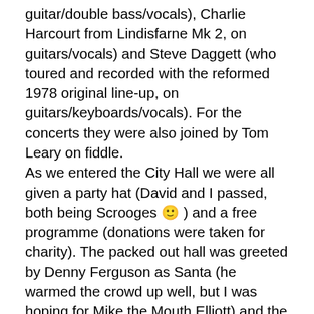guitar/double bass/vocals), Charlie Harcourt from Lindisfarne Mk 2, on guitars/vocals) and Steve Daggett (who toured and recorded with the reformed 1978 original line-up, on guitars/keyboards/vocals). For the concerts they were also joined by Tom Leary on fiddle. As we entered the City Hall we were all given a party hat (David and I passed, both being Scrooges 🙂 ) and a free programme (donations were taken for charity). The packed out hall was greeted by Denny Ferguson as Santa (he warmed the crowd up well, but I was hoping for Mike the Mouth Elliott) and the atmosphere was friendly and high in anticipation. People were sitting up at the back of the stage behind the band, just like we did in the old days, and a huge Christmas tree stood in the corner. As soon as the new line-up started playing it was obvious that it was going to be a good night. The band recreated the Lindisfarne